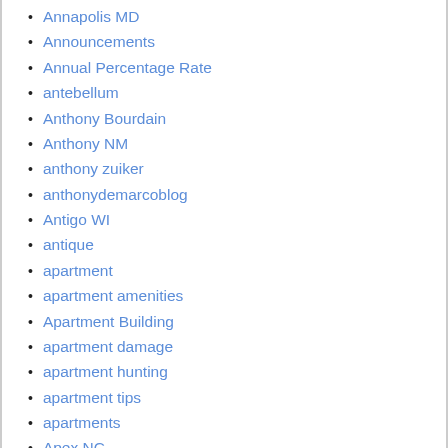Annapolis MD
Announcements
Annual Percentage Rate
antebellum
Anthony Bourdain
Anthony NM
anthony zuiker
anthonydemarcoblog
Antigo WI
antique
apartment
apartment amenities
Apartment Building
apartment damage
apartment hunting
apartment tips
apartments
Apex NC
app